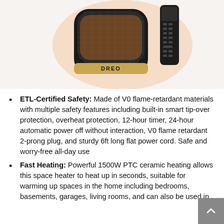[Figure (photo): Photo of a Dreo brand space heater (cylindrical black device with gold band and mesh grill) alongside a black TV remote control, on a white/peach background.]
ETL-Certified Safety: Made of V0 flame-retardant materials with multiple safety features including built-in smart tip-over protection, overheat protection, 12-hour timer, 24-hour automatic power off without interaction, V0 flame retardant 2-prong plug, and sturdy 6ft long flat power cord. Safe and worry-free all-day use
Fast Heating: Powerful 1500W PTC ceramic heating allows this space heater to heat up in seconds, suitable for warming up spaces in the home including bedrooms, basements, garages, living rooms, and can also be used in